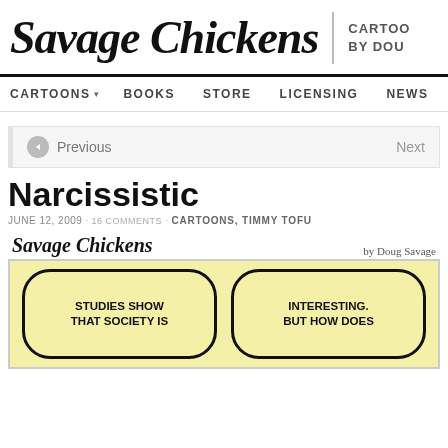Savage Chickens | CARTOONS BY DOUG
CARTOONS ▾  BOOKS  STORE  LICENSING  NEWS
◀ Previous   Next
Narcissistic
JUNE 12, 2009 · 16 COMMENTS · CARTOONS, TIMMY TOFU
[Figure (illustration): Savage Chickens cartoon strip on yellow sticky note background. Two speech bubbles: left bubble reads 'STUDIES SHOW THAT SOCIETY IS'; right bubble reads 'INTERESTING. BUT HOW DOES']